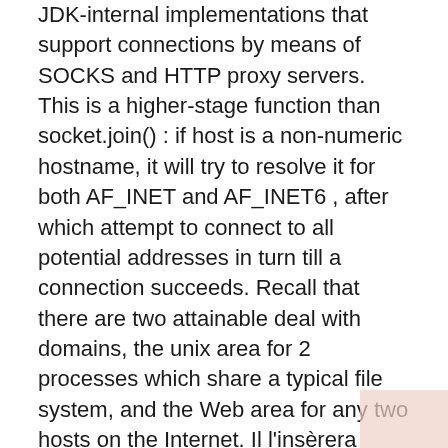JDK-internal implementations that support connections by means of SOCKS and HTTP proxy servers. This is a higher-stage function than socket.join() : if host is a non-numeric hostname, it will try to resolve it for both AF_INET and AF_INET6 , after which attempt to connect to all potential addresses in turn till a connection succeeds. Recall that there are two attainable deal with domains, the unix area for 2 processes which share a typical file system, and the Web area for any two hosts on the Internet. Il l'insèrera dans un numéro de port spécifique, écoutera le message UDP entrant et enverra une réponse en écho.Construct a DatagramSocket to play the position of the echo server, bind it to a specific port quantity, pay attention for an incoming UDP message,